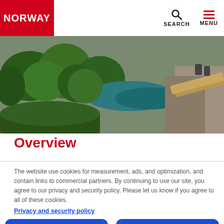NORWAY | SEARCH | MENU
[Figure (photo): Aerial/scenic Norwegian landscape photo showing trees, a turquoise river/fjord, and rocky terrain with a wooden walkway visible]
Overview
The website use cookies for measurement, ads, and optimization, and contain links to commercial partners. By continuing to use our site, you agree to our privacy and security policy. Please let us know if you agree to all of these cookies.
Privacy and security policy
Required only
Yes, that´s OK!
Edit settings